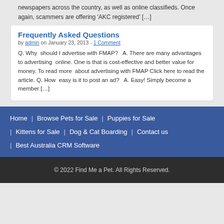newspapers across the country, as well as online classifieds. Once again, scammers are offering 'AKC registered' […]
Frequently Asked Questions
by admin on January 23, 2013 - 1 Comment
Q. Why  should I advertise with FMAP?   A. There are many advantages to advertising  online. One is that is cost-effective and better value for money. To read more  about advertising with FMAP Click here to read the article. Q. How  easy is it to post an ad?   A. Easy! Simply become a member […]
Home | Browse Pets for Sale | Puppies for Sale | Kittens for Sale | Dog & Cat Boarding | Contact us | Best Australia CRM Software
© 2022 Find Me a Pet. All Rights Reserved.